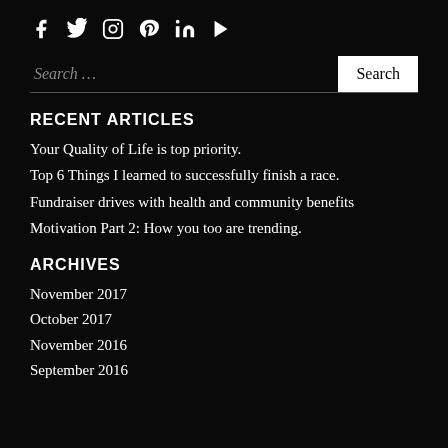[Figure (other): Social media icons: Facebook, Twitter, Instagram, Pinterest, LinkedIn, YouTube]
Search ...
RECENT ARTICLES
Your Quality of Life is top priority.
Top 6 Things I learned to successfully finish a race.
Fundraiser drives with health and community benefits
Motivation Part 2: How you too are trending.
ARCHIVES
November 2017
October 2017
November 2016
September 2016